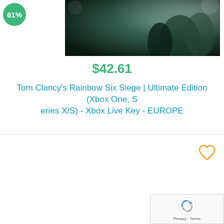[Figure (screenshot): Rainbow Six Siege game cover art showing armored soldiers, with text 'XBOX ONE GAME PLAYABLE ON XBOX SERIES X']
61%
$42.61
Tom Clancy's Rainbow Six Siege | Ultimate Edition (Xbox One, Series X/S) - Xbox Live Key - EUROPE
[Figure (other): Heart/wishlist icon (orange outline heart)]
[Figure (other): Google reCAPTCHA widget with Privacy · Terms text]